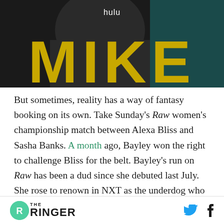[Figure (photo): Hulu promotional image for the show MIKE, showing large gold/yellow letters 'MIKE' on a dark background with 'hulu' text at the top in white]
But sometimes, reality has a way of fantasy booking on its own. Take Sunday's Raw women's championship match between Alexa Bliss and Sasha Banks. A month ago, Bayley won the right to challenge Bliss for the belt. Bayley's run on Raw has been a dud since she debuted last July. She rose to renown in NXT as the underdog who finally made it to the top, but she was introduced on Raw as a conquering hero. With her hugs, side
THE RINGER